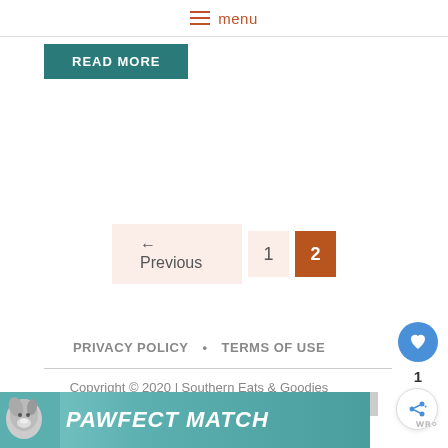menu
READ MORE
← Previous  1  2
PRIVACY POLICY • TERMS OF USE
Copyright © 2020 | Southern Eats & Goodies
Exclusive Member of Mediavine Food
[Figure (other): PAWFECT MATCH advertisement banner with dog image]